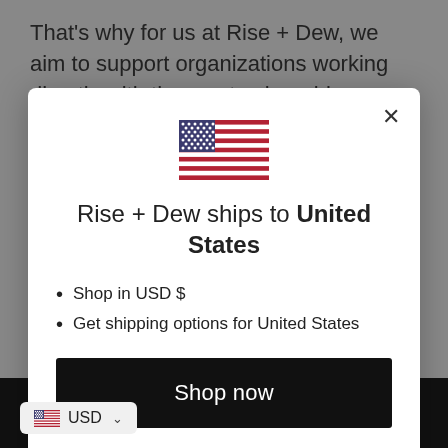That's why for us at Rise + Dew, we aim to support organizations working directly with the most vulnerable
[Figure (screenshot): A modal dialog popup on a website for Rise + Dew. It shows a US flag at the top, the message 'Rise + Dew ships to United States', bullet points for 'Shop in USD $' and 'Get shipping options for United States', a black 'Shop now' button, and a 'Change shipping country' link.]
USD ∨